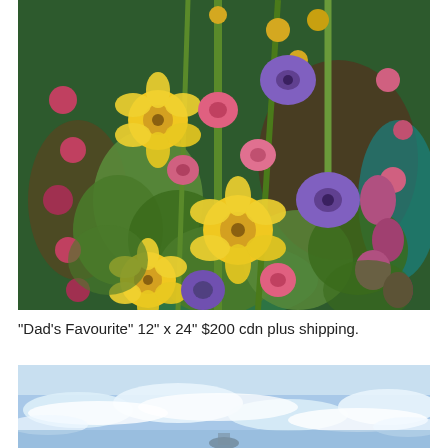[Figure (illustration): Painting of a colorful floral bouquet featuring yellow, purple, pink, and mauve flowers with green leaves against a green and teal background. The style is impressionistic with loose, expressive brushwork.]
“Dad’s Favourite” 12” x 24” $200 cdn plus shipping.
[Figure (illustration): Partial view of a painting depicting ocean waves with white crests against a light blue sky and sea. The style is impressionistic.]